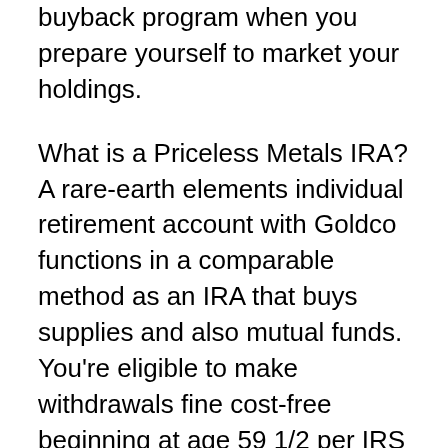buyback program when you prepare yourself to market your holdings.
What is a Priceless Metals IRA?
A rare-earth elements individual retirement account with Goldco functions in a comparable method as an IRA that buys supplies and also mutual funds. You're eligible to make withdrawals fine cost-free beginning at age 59 1/2 per IRS policies. If you arrangement a standard individual retirement account, you'll need to begin making withdrawals by the age of 72.
Like a brokerage firm individual retirement account, the worth of the holdings in a rare-earth elements individual retirement account is not assured. The system of either rare-earth elements or